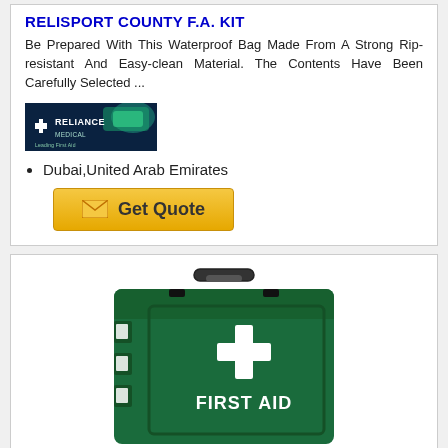RELISPORT COUNTY F.A. KIT
Be Prepared With This Waterproof Bag Made From A Strong Rip-resistant And Easy-clean Material. The Contents Have Been Carefully Selected ...
[Figure (logo): Reliance Medical brand logo - dark blue/teal banner with green graphic elements]
Dubai,United Arab Emirates
[Figure (photo): Green first aid kit box with white cross and FIRST AID text, with handle on top]